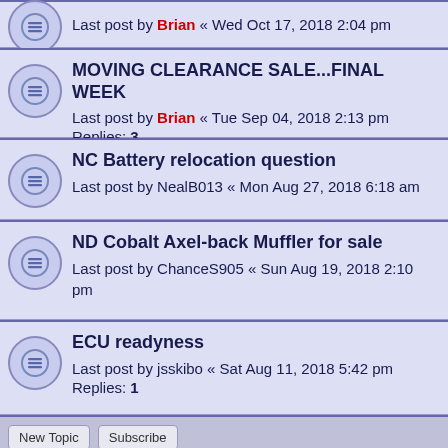Last post by Brian « Wed Oct 17, 2018 2:04 pm
MOVING CLEARANCE SALE...FINAL WEEK
Last post by Brian « Tue Sep 04, 2018 2:13 pm
Replies: 3
NC Battery relocation question
Last post by NealB013 « Mon Aug 27, 2018 6:18 am
ND Cobalt Axel-back Muffler for sale
Last post by ChanceS905 « Sun Aug 19, 2018 2:10 pm
ECU readyness
Last post by jsskibo « Sat Aug 11, 2018 5:42 pm
Replies: 1